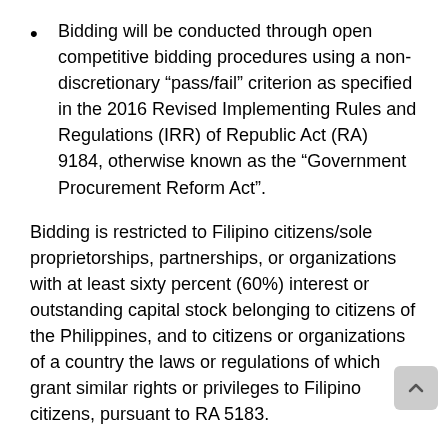Bidding will be conducted through open competitive bidding procedures using a non-discretionary “pass/fail” criterion as specified in the 2016 Revised Implementing Rules and Regulations (IRR) of Republic Act (RA) 9184, otherwise known as the “Government Procurement Reform Act”.
Bidding is restricted to Filipino citizens/sole proprietorships, partnerships, or organizations with at least sixty percent (60%) interest or outstanding capital stock belonging to citizens of the Philippines, and to citizens or organizations of a country the laws or regulations of which grant similar rights or privileges to Filipino citizens, pursuant to RA 5183.
The Invitation to Bid and Bidding Documents may be downloaded from the website of the Philippine Government Electronic Procurement System